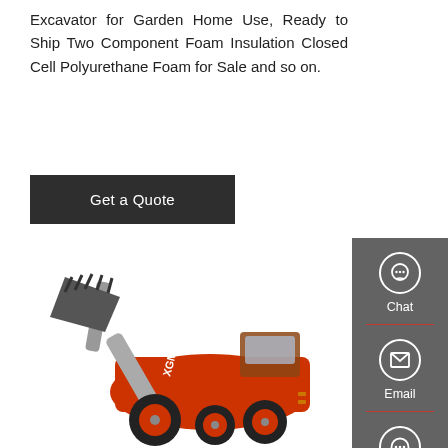Excavator for Garden Home Use, Ready to Ship Two Component Foam Insulation Closed Cell Polyurethane Foam for Sale and so on.
Get a Quote
[Figure (screenshot): Sidebar with Chat, Email, Contact icons on dark grey background]
[Figure (photo): XGMA orange wheel loader/excavator with raised bucket, white background]